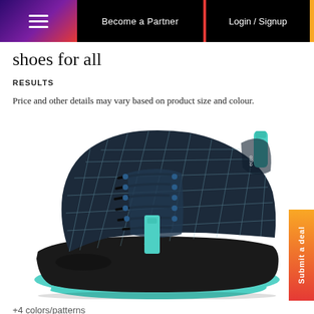Become a Partner  |  Login / Signup
shoes for all
RESULTS
Price and other details may vary based on product size and colour.
[Figure (photo): Dark navy blue sneaker with teal/turquoise accents on the sole, heel tab, and strap. Black laces, patterned mesh upper with reflective diamond grid pattern. Brand logo visible on heel. Thick black midsole with turquoise outsole.]
+4 colors/patterns